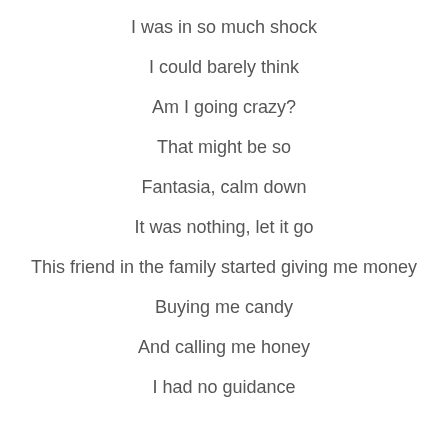I was in so much shock
I could barely think
Am I going crazy?
That might be so
Fantasia, calm down
It was nothing, let it go
This friend in the family started giving me money
Buying me candy
And calling me honey
I had no guidance